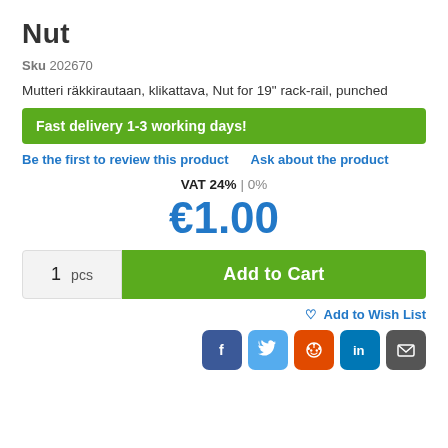Nut
Sku  202670
Mutteri räkkirautaan, klikattava, Nut for 19" rack-rail, punched
Fast delivery 1-3 working days!
Be the first to review this product    Ask about the product
VAT 24% | 0%
€1.00
1  pcs   Add to Cart
♡ Add to Wish List
[Figure (other): Social sharing buttons: Facebook, Twitter, Reddit, LinkedIn, Email]